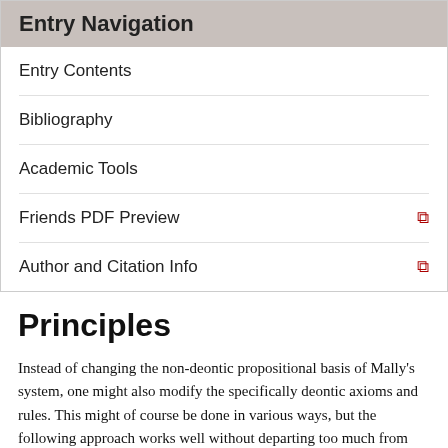Entry Navigation
Entry Contents
Bibliography
Academic Tools
Friends PDF Preview
Author and Citation Info
Principles
Instead of changing the non-deontic propositional basis of Mally's system, one might also modify the specifically deontic axioms and rules. This might of course be done in various ways, but the following approach works well without departing too much from Mally's original assumptions.[26]
First, regard f as primitive and replace Mally's definition of f in terms of → and ! (Def. f, the very first specifically deontic postulate in Mally's book) by the following